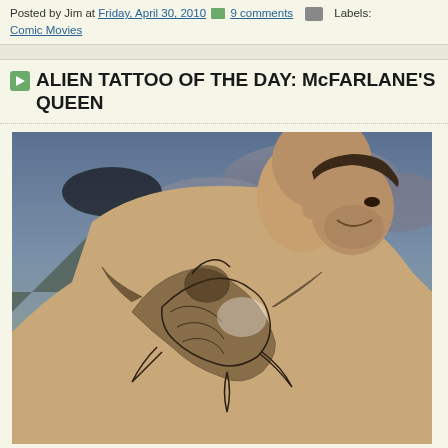Posted by Jim at Friday, April 30, 2010 9 comments Labels: Comic Movies
ALIEN TATTOO OF THE DAY: McFARLANE'S QUEEN
[Figure (photo): A shirtless muscular man with a large dragon/alien queen tattoo on his back, smiling, with a crowd and stormy sky in the background.]